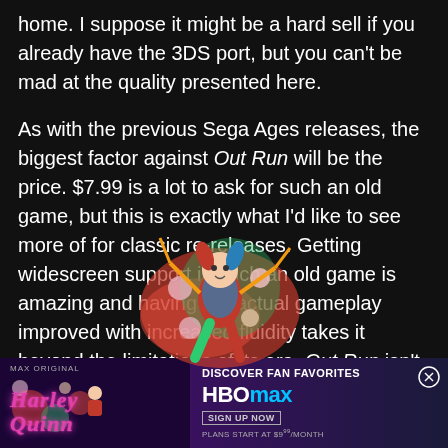home. I suppose it might be a hard sell if you already have the 3DS port, but you can't be mad at the quality presented here.
As with the previous Sega Ages releases, the biggest factor against Out Run will be the price. $7.99 is a lot to ask for such an old game, but this is exactly what I'd like to see more of for classic re-releases. Getting widescreen support in such an old game is amazing and having the actual gameplay improved with increased fluidity takes it beyond the limitations of its era. Out Run isn't suddenly going to win game of the year, but this is easily the definitive version of Yu Suzuki's classic arcade game.
[Figure (illustration): Harley Quinn character overlaid on text area with colorful floral/explosion background elements]
[Figure (infographic): HBO Max advertisement banner: Harley Quinn show logo on left with purple background, right side reads DISCOVER FAN FAVORITES HBOMAX SIGN UP NOW PLANS START AT $9.99/MONTH with close button]